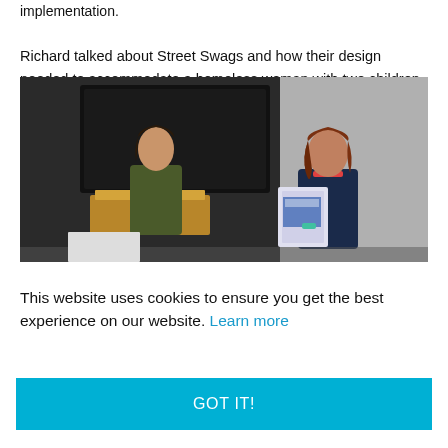implementation.

Richard talked about Street Swags and how their design needed to accommodate a homeless woman with two children. He looks after three homeless ladies in the town.
[Figure (photo): Two women facing each other at what appears to be a conference or event. The woman on the left stands at a wooden podium in front of a large screen, wearing a dark olive blouse. The woman on the right holds papers/documents and wears a dark navy blazer with a colorful necklace.]
This website uses cookies to ensure you get the best experience on our website. Learn more
GOT IT!